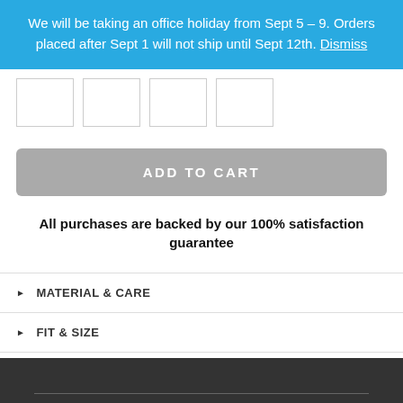We will be taking an office holiday from Sept 5 – 9. Orders placed after Sept 1 will not ship until Sept 12th. Dismiss
[Figure (other): Four small product thumbnail images in a row]
ADD TO CART
All purchases are backed by our 100% satisfaction guarantee
MATERIAL & CARE
FIT & SIZE
SHIPPING
RETURNS